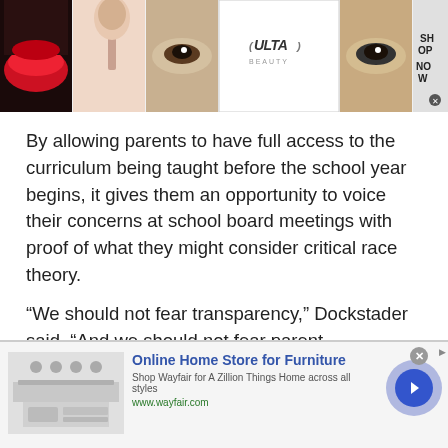[Figure (photo): Ulta Beauty advertisement banner showing makeup close-up photos (lips, brush, eyes) with ULTA logo and SHOP NOW call to action]
By allowing parents to have full access to the curriculum being taught before the school year begins, it gives them an opportunity to voice their concerns at school board meetings with proof of what they might consider critical race theory.
“We should not fear transparency,” Dockstader said. “And we should not fear parent involvement in our schools.”
[Figure (photo): Wayfair advertisement: Online Home Store for Furniture. Shop Wayfair for A Zillion Things Home across all styles. www.wayfair.com]